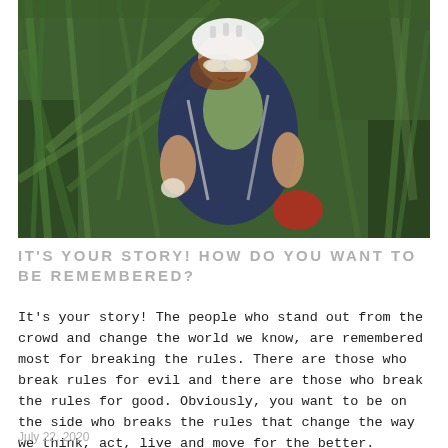[Figure (photo): A cyclist with a white helmet and sunglasses, wearing a navy blue cycling jersey and carrying a backpack, surrounded by dense tall green grass and vegetation, looking back over their shoulder and smiling.]
IT'S YOUR STORY! HOW DO YOU WANT TO BE REMEMBERED?
It's your story! The people who stand out from the crowd and change the world we know, are remembered most for breaking the rules. There are those who break rules for evil and there are those who break the rules for good. Obviously, you want to be on the side who breaks the rules that change the way we think, act, live and move for the better.
July 22, 2020